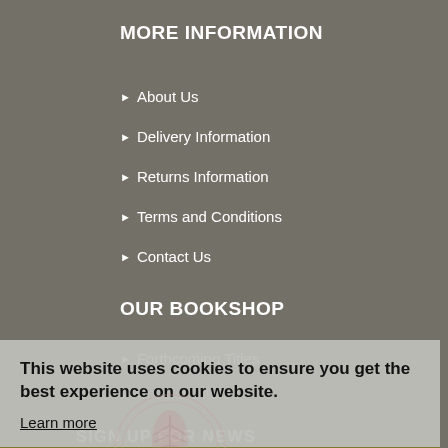MORE INFORMATION
About Us
Delivery Information
Returns Information
Terms and Conditions
Contact Us
OUR BOOKSHOP
Forthcoming Titles
Special Offers
This website uses cookies to ensure you get the best experience on our website.
Learn more
Dismiss
SIGN UP FOR NEWS